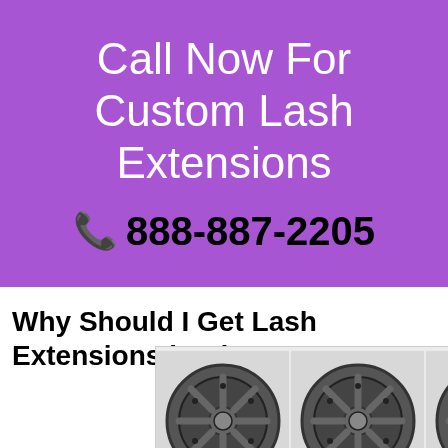[Figure (infographic): Purple banner with white text reading 'Call Now For Custom Lash Extensions' and a phone number '☎ 888-887-2205' in black bold text]
Why Should I Get Lash Extensions in Piscataway, NJ?
[Figure (photo): Advertisement showing three dark gray/black alloy wheels side by side. The third wheel has a tag showing -41%. An ad dismiss button (triangle/x) appears top right, and a logo for what appears to be a tire/wheel company appears bottom right.]